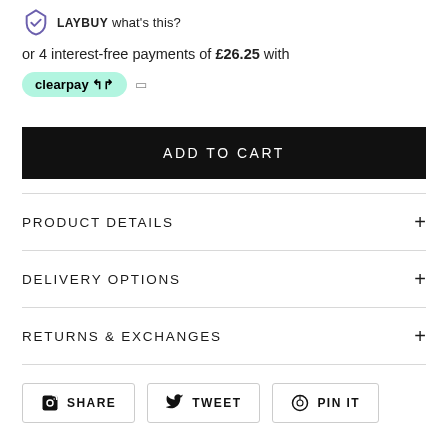LAYBUY what's this?
or 4 interest-free payments of £26.25 with clearpay
ADD TO CART
PRODUCT DETAILS
DELIVERY OPTIONS
RETURNS & EXCHANGES
SHARE  TWEET  PIN IT